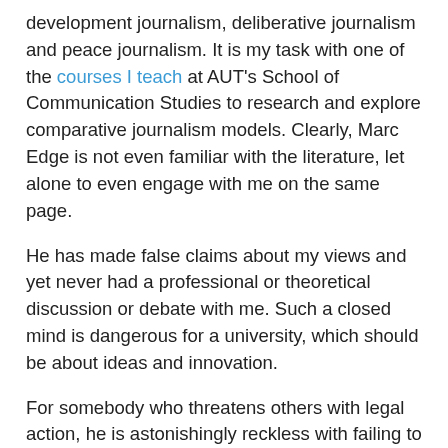development journalism, deliberative journalism and peace journalism. It is my task with one of the courses I teach at AUT's School of Communication Studies to research and explore comparative journalism models. Clearly, Marc Edge is not even familiar with the literature, let alone to even engage with me on the same page.
He has made false claims about my views and yet never had a professional or theoretical discussion or debate with me. Such a closed mind is dangerous for a university, which should be about ideas and innovation.
For somebody who threatens others with legal action, he is astonishingly reckless with failing to establish facts. Among the many defamatory lies and distortions he has served up about me in his Fiji Media Wars blog in the past few days are:
1.    "This assault [my article] was unprovoked by me [Marc Edge]."
FACT: Marc Edge had been harassing me and some of my